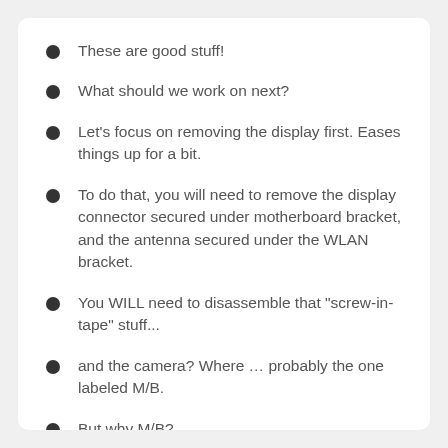These are good stuff!
What should we work on next?
Let's focus on removing the display first. Eases things up for a bit.
To do that, you will need to remove the display connector secured under motherboard bracket, and the antenna secured under the WLAN bracket.
You WILL need to disassemble that "screw-in-tape" stuff...
and the camera? Where … probably the one labeled M/B.
But why M/B?